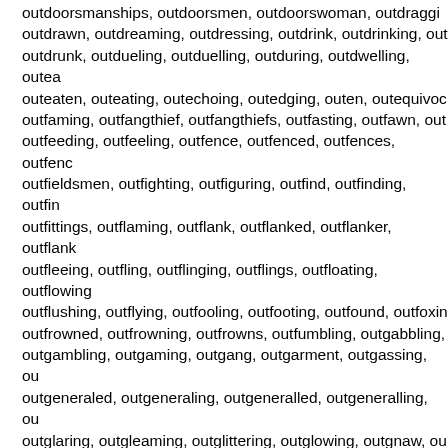outdoorsmanships, outdoorsmen, outdoorswoman, outdraggi… outdrawn, outdreaming, outdressing, outdrink, outdrinking, out… outdrunk, outdueling, outduelling, outduring, outdwelling, outea… outeaten, outeating, outechoing, outedging, outen, outequivoc… outfaming, outfangthief, outfangthiefs, outfasting, outfawn, out… outfeeding, outfeeling, outfence, outfenced, outfences, outfenc… outfieldsmen, outfighting, outfiguring, outfind, outfinding, outfin… outfittings, outflaming, outflank, outflanked, outflanker, outflank… outfleeing, outfling, outflinging, outflings, outfloating, outflowing… outflushing, outflying, outfooling, outfooting, outfound, outfoxin… outfrowned, outfrowning, outfrowns, outfumbling, outgabbling, … outgambling, outgaming, outgang, outgarment, outgassing, ou… outgeneraled, outgeneraling, outgeneralled, outgeneralling, ou… outglaring, outgleaming, outglittering, outglowing, outgnaw, ou… outgoing, outgoingness, outgoingnesses, outgoings, outgone, … outgrins, outgrossing, outground, outgrowing, outgrown, outgu… outgunning, outguns, outgushing, outhasten, outhearing, outhi… outhousing, outhowling, outhumoring, outhunt, outhunted, outl… outhyperbolizing, outhyring, outing, outings, outintrigue, outint… outissuing, outjesting, outjetting, outjettings, outjinx, outjinxed, … outjourney, outjourneyed, outjourneying, outjuggling, outjumpi… outkicking, outkilling, outking, outkissing, outkitchen, outkave… outlancing, outland, outlander, outlanders, outlandish, outlandi… outlandishnesses, outlands, outlasting, outlaughing, outlauce… outlaunched, outlaunches, outlaunching, outlauncing, outlawin…